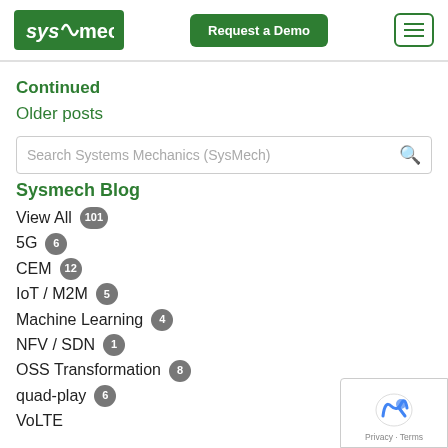SysMech | Request a Demo | Menu
Continued
Older posts
Search Systems Mechanics (SysMech)
Sysmech Blog
View All 101
5G 6
CEM 12
IoT / M2M 5
Machine Learning 4
NFV / SDN 1
OSS Transformation 8
quad-play 6
VoLTE